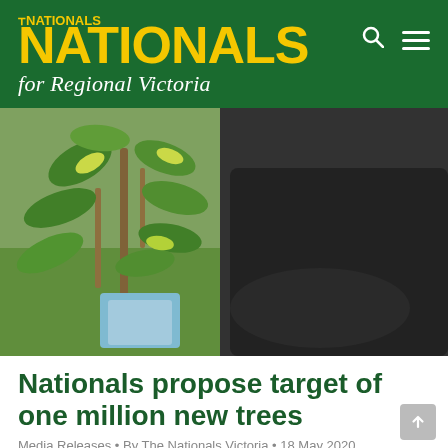THE NATIONALS for Regional Victoria
[Figure (photo): A person in a black sweater holding a small plant/sapling with green leaves in a blue bag, with a grassy background. The image appears to show someone handling a potted tree seedling.]
Nationals propose target of one million new trees
Media Releases • By The Nationals Victoria • 18 May 2020